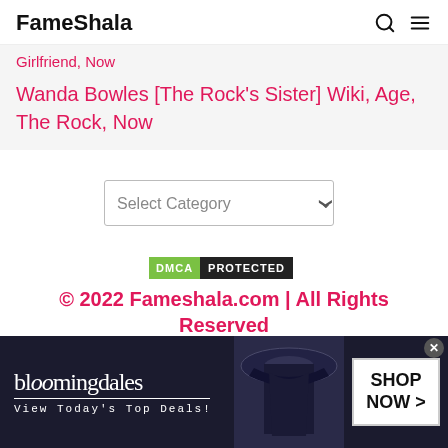FameShala
Girlfriend, Now
Wanda Bowles [The Rock's Sister] Wiki, Age, The Rock, Now
[Figure (screenshot): Select Category dropdown menu]
© 2022 Fameshala.com | All Rights Reserved
[Figure (infographic): Bloomingdales advertisement banner: bloomingdales View Today's Top Deals! SHOP NOW >]